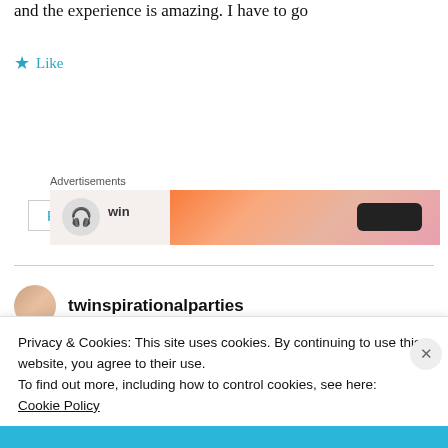and the experience is amazing. I have to go
★ Like
Reply
Advertisements
[Figure (other): Advertisement banner with orange/pink gradient and a dark button]
twinspirationalparties
Privacy & Cookies: This site uses cookies. By continuing to use this website, you agree to their use.
To find out more, including how to control cookies, see here:
Cookie Policy
Close and accept